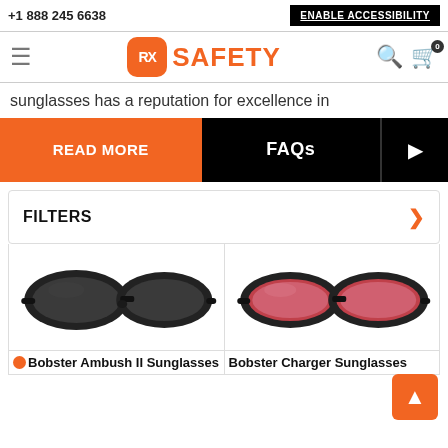+1 888 245 6638 | ENABLE ACCESSIBILITY
[Figure (logo): RX Safety logo with orange rounded square containing 'RX' and orange text 'SAFETY']
sunglasses has a reputation for excellence in
READ MORE
FAQs
FILTERS
[Figure (photo): Bobster Ambush II Sunglasses - black wraparound sunglasses with dark lenses]
[Figure (photo): Bobster Charger Sunglasses - black wraparound sunglasses with red/rose lenses]
Bobster Ambush II Sunglasses
Bobster Charger Sunglasses